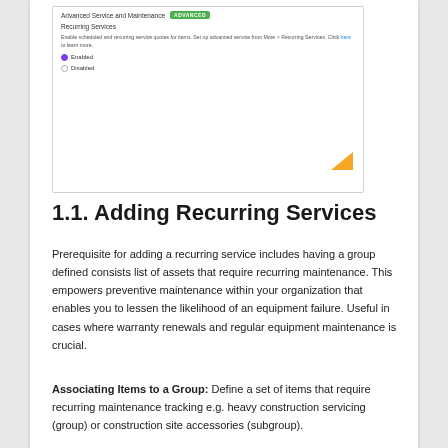[Figure (screenshot): Screenshot of UI showing 'Advanced Service and Maintenance' with ADVANCED badge, Recurring Services label, descriptive text with a link, and Enabled/Disabled radio buttons. An orange arrow badge is visible at the bottom right.]
1.1. Adding Recurring Services
Prerequisite for adding a recurring service includes having a group defined consists list of assets that require recurring maintenance. This empowers preventive maintenance within your organization that enables you to lessen the likelihood of an equipment failure. Useful in cases where warranty renewals and regular equipment maintenance is crucial.
Associating Items to a Group: Define a set of items that require recurring maintenance tracking e.g. heavy construction servicing (group) or construction site accessories (subgroup).